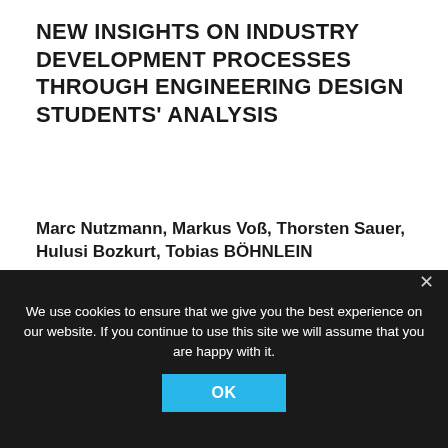NEW INSIGHTS ON INDUSTRY DEVELOPMENT PROCESSES THROUGH ENGINEERING DESIGN STUDENTS' ANALYSIS
Marc Nutzmann, Markus Voß, Thorsten Sauer, Hulusi Bozkurt, Tobias BÖHNLEIN
Cooperative State University Mannheim, Germany
do: https://doi.org/10.35199/EPDE.2020.21
<Video not available>
We use cookies to ensure that we give you the best experience on our website. If you continue to use this site we will assume that you are happy with it.